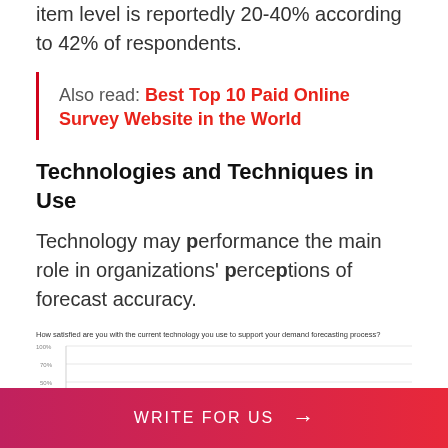item level is reportedly 20-40% according to 42% of respondents.
Also read: Best Top 10 Paid Online Survey Website in the World
Technologies and Techniques in Use
Technology may performance the main role in organizations' perceptions of forecast accuracy.
[Figure (bar-chart): Partial bar chart showing satisfaction percentages on y-axis (100%, 70%, 50%, 70%, 40%), chart is cut off at bottom of page]
WRITE FOR US →